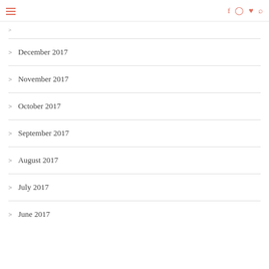Navigation header with hamburger menu and social icons
> December 2017
> November 2017
> October 2017
> September 2017
> August 2017
> July 2017
> June 2017